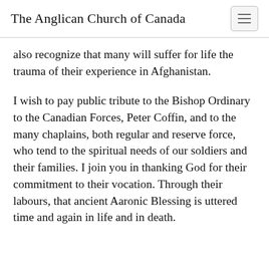The Anglican Church of Canada
also recognize that many will suffer for life the trauma of their experience in Afghanistan.
I wish to pay public tribute to the Bishop Ordinary to the Canadian Forces, Peter Coffin, and to the many chaplains, both regular and reserve force, who tend to the spiritual needs of our soldiers and their families. I join you in thanking God for their commitment to their vocation. Through their labours, that ancient Aaronic Blessing is uttered time and again in life and in death.